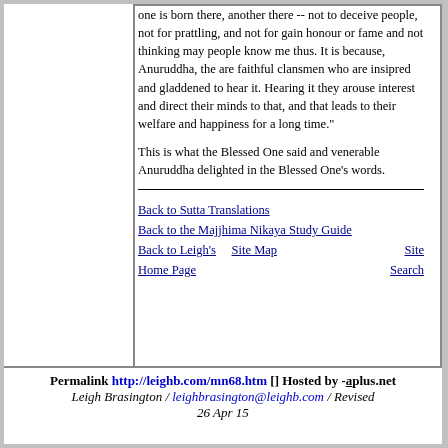one is born there, another there -- not to deceive people, not for prattling, and not for gain honour or fame and not thinking may people know me thus. It is because, Anuruddha, the are faithful clansmen who are insipred and gladdened to hear it. Hearing it they arouse interest and direct their minds to that, and that leads to their welfare and happiness for a long time."
This is what the Blessed One said and venerable Anuruddha delighted in the Blessed One's words.
Back to Sutta Translations
Back to the Majjhima Nikaya Study Guide
Back to Leigh's    Site Map    Site Home Page    Search
Permalink http://leighb.com/mn68.htm [] Hosted by -aplus.net
Leigh Brasington / leighbrasington@leighb.com / Revised 26 Apr 15